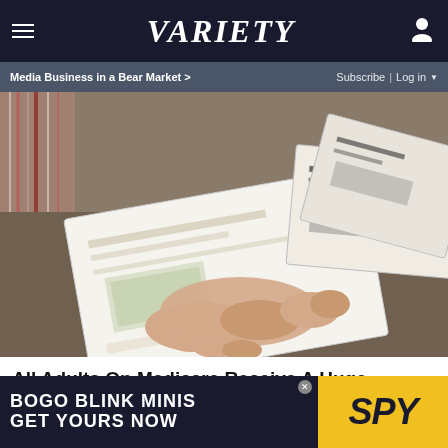VARIETY | Media Business in a Bear Market > | Subscribe | Log in
[Figure (photo): A hand holding and fanning out multiple paper checks or documents on a surface with striped fabric in the background]
All Adults On Medicare Receive A Huge Benefit (Check If You Qualify)
SIMPLY SAVE TODAY
[Figure (other): Advertisement banner: BOGO BLINK MINIS GET YOURS NOW with SPY logo on yellow background]